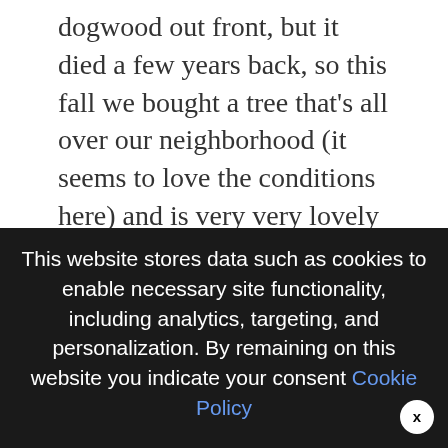dogwood out front, but it died a few years back, so this fall we bought a tree that's all over our neighborhood (it seems to love the conditions here) and is very very lovely when it's not in stick mode (UGH, FALL IS THE WORST). It's called a river birch and they are truly gorgeous trees. Can't wait to share more photos of this whole front yard in the spring when the dogwood and our new river birch baby are all greened up and lush again.
We use cookies on our website to give you the most relevant experience by remembering your preferences and repeat visits. By clicking "Accept All", you consent to the use of ALL the cookies. However, you may visit "Cookie Settings" to provide a controlled consent.
This website stores data such as cookies to enable necessary site functionality, including analytics, targeting, and personalization. By remaining on this website you indicate your consent Cookie Policy